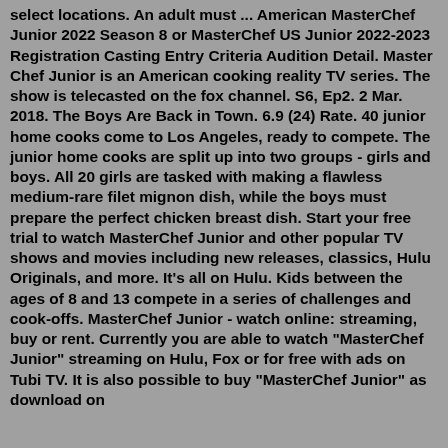select locations. An adult must ... American MasterChef Junior 2022 Season 8 or MasterChef US Junior 2022-2023 Registration Casting Entry Criteria Audition Detail. Master Chef Junior is an American cooking reality TV series. The show is telecasted on the fox channel. S6, Ep2. 2 Mar. 2018. The Boys Are Back in Town. 6.9 (24) Rate. 40 junior home cooks come to Los Angeles, ready to compete. The junior home cooks are split up into two groups - girls and boys. All 20 girls are tasked with making a flawless medium-rare filet mignon dish, while the boys must prepare the perfect chicken breast dish. Start your free trial to watch MasterChef Junior and other popular TV shows and movies including new releases, classics, Hulu Originals, and more. It's all on Hulu. Kids between the ages of 8 and 13 compete in a series of challenges and cook-offs. MasterChef Junior - watch online: streaming, buy or rent. Currently you are able to watch "MasterChef Junior" streaming on Hulu, Fox or for free with ads on Tubi TV. It is also possible to buy "MasterChef Junior" as download on